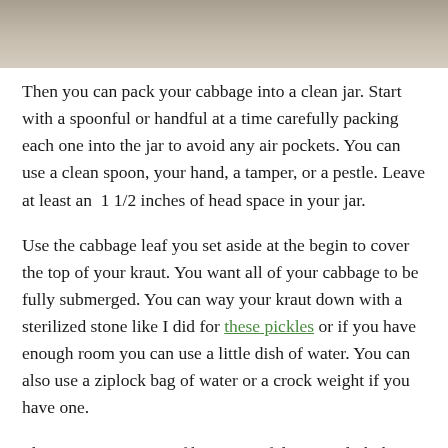[Figure (photo): Top portion of a photo showing a wooden surface, partially visible at the top of the page.]
Then you can pack your cabbage into a clean jar. Start with a spoonful or handful at a time carefully packing each one into the jar to avoid any air pockets. You can use a clean spoon, your hand, a tamper, or a pestle. Leave at least an  1 1/2 inches of head space in your jar.
Use the cabbage leaf you set aside at the begin to cover the top of your kraut. You want all of your cabbage to be fully submerged. You can way your kraut down with a sterilized stone like I did for these pickles or if you have enough room you can use a little dish of water. You can also use a ziplock bag of water or a crock weight if you have one.
Place your jar or jars of kraut out of direct sunlight but somewhere you will remember to keep an eye on them. You kraut will need to ferment between 4-14 days. It will ferment